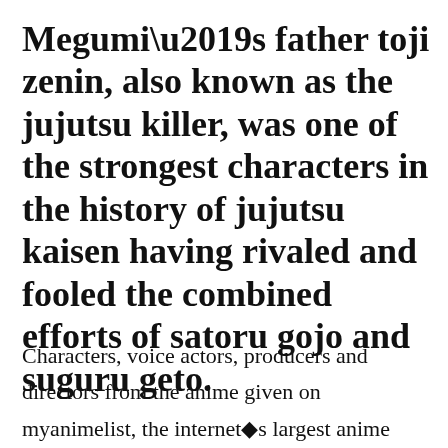Megumi’s father toji zenin, also known as the jujutsu killer, was one of the strongest characters in the history of jujutsu kaisen having rivaled and fooled the combined efforts of satoru gojo and suguru geto.
Characters, voice actors, producers and directors from the anime given on myanimelist, the internet�s largest anime database. Megumi’s father toji zenin, also